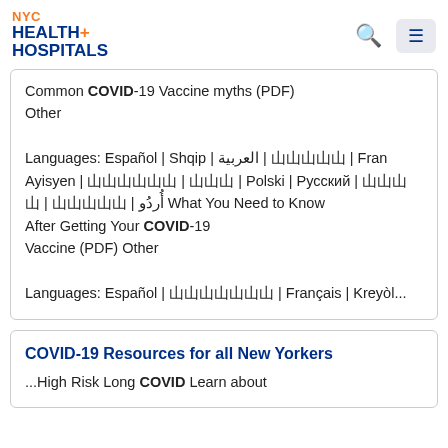NYC HEALTH+ HOSPITALS
Common COVID-19 Vaccine myths (PDF) Other Languages: Español | Shqip | العربية | ??????? | Fran Ayisyen | ?????? | ??? | Polski | Русский | ???? ? | ????? | أردو What You Need to Know After Getting Your COVID-19 Vaccine (PDF) Other Languages: Español | ??????? | Français | Kreyòl...
COVID-19 Resources for all New Yorkers
...High Risk Long COVID Learn about